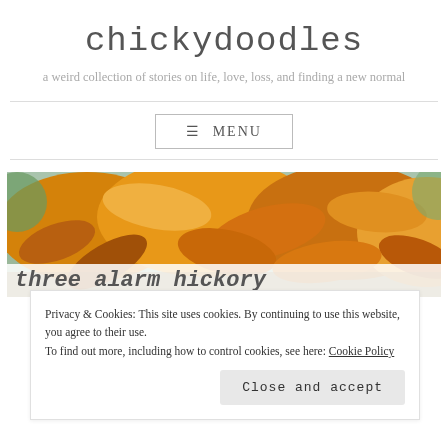chickydoodles
a weird collection of stories on life, love, loss, and finding a new normal
≡ MENU
[Figure (photo): Autumn leaves — orange, yellow, and brown — scattered outdoors with blurry green background]
Three alarm hickory
Privacy & Cookies: This site uses cookies. By continuing to use this website, you agree to their use.
To find out more, including how to control cookies, see here: Cookie Policy
Close and accept